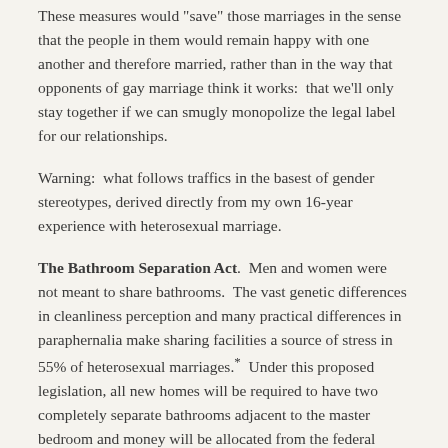These measures would "save" those marriages in the sense that the people in them would remain happy with one another and therefore married, rather than in the way that opponents of gay marriage think it works:  that we'll only stay together if we can smugly monopolize the legal label for our relationships.
Warning:  what follows traffics in the basest of gender stereotypes, derived directly from my own 16-year experience with heterosexual marriage.
The Bathroom Separation Act.  Men and women were not meant to share bathrooms.  The vast genetic differences in cleanliness perception and many practical differences in paraphernalia make sharing facilities a source of stress in 55% of heterosexual marriages.*  Under this proposed legislation, all new homes will be required to have two completely separate bathrooms adjacent to the master bedroom and money will be allocated from the federal budget to retrofit houses of married heteros with one extra master bath.